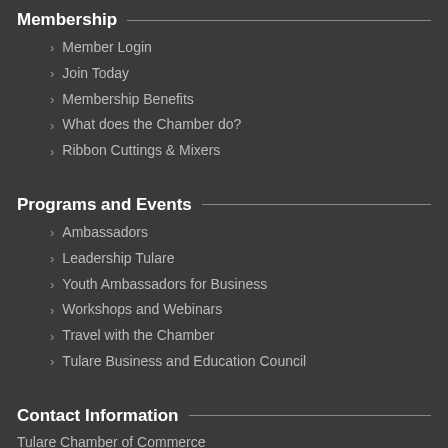Membership
Member Login
Join Today
Membership Benefits
What does the Chamber do?
Ribbon Cuttings & Mixers
Programs and Events
Ambassadors
Leadership Tulare
Youth Ambassadors for Business
Workshops and Webinars
Travel with the Chamber
Tulare Business and Education Council
Contact Information
Tulare Chamber of Commerce